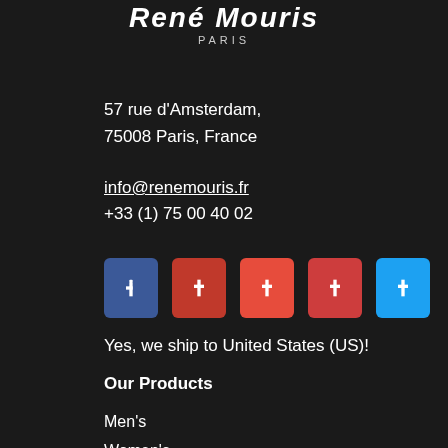[Figure (logo): René Mouris Paris logo in white italic text on dark background]
57 rue d'Amsterdam,
75008 Paris, France
info@renemouris.fr
+33 (1) 75 00 40 02
[Figure (infographic): Row of 5 social media icon buttons: Facebook (blue), Pinterest (dark red), Pinterest (red), Pinterest (medium red), Twitter (light blue)]
Yes, we ship to United States (US)!
Our Products
Men's
Women's